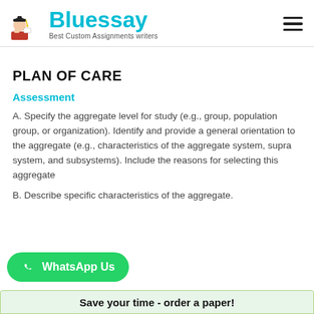Bluessay — Best Custom Assignments writers
PLAN OF CARE
Assessment
A. Specify the aggregate level for study (e.g., group, population group, or organization). Identify and provide a general orientation to the aggregate (e.g., characteristics of the aggregate system, supra system, and subsystems). Include the reasons for selecting this aggregate
B. Describe specific characteristics of the aggregate.
[Figure (logo): WhatsApp Us green button with WhatsApp icon]
Save your time - order a paper!